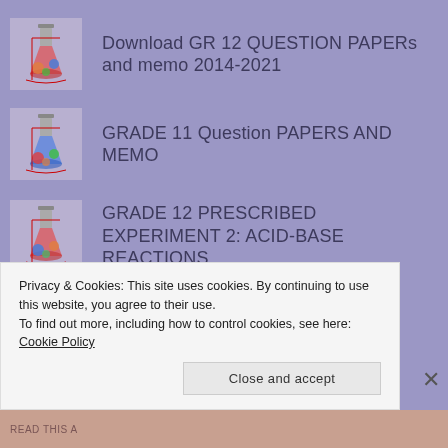Download GR 12 QUESTION PAPERs and memo 2014-2021
GRADE 11 Question PAPERS AND MEMO
GRADE 12 PRESCRIBED EXPERIMENT 2: ACID-BASE REACTIONS
TEACHER RESOURCES
Privacy & Cookies: This site uses cookies. By continuing to use this website, you agree to their use.
To find out more, including how to control cookies, see here: Cookie Policy
Close and accept